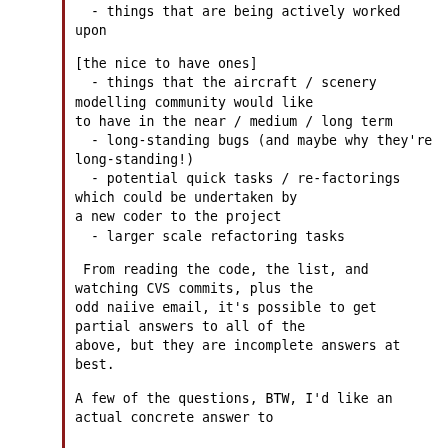- things that are being actively worked upon
[the nice to have ones]
  - things that the aircraft / scenery modelling community would like to have in the near / medium / long term
  - long-standing bugs (and maybe why they're long-standing!)
  - potential quick tasks / re-factorings which could be undertaken by a new coder to the project
  - larger scale refactoring tasks
From reading the code, the list, and watching CVS commits, plus the odd naiive email, it's possible to get partial answers to all of the above, but they are incomplete answers at best.
A few of the questions, BTW, I'd like an actual concrete answer to